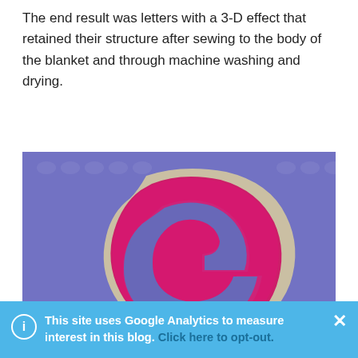The end result was letters with a 3-D effect that retained their structure after sewing to the body of the blanket and through machine washing and drying.
[Figure (photo): Close-up photo of a crocheted letter G in bright pink/magenta yarn with a cream/white outline border, sewn onto a blue/purple crocheted blanket background.]
This site uses Google Analytics to measure interest in this blog. Click here to opt-out.